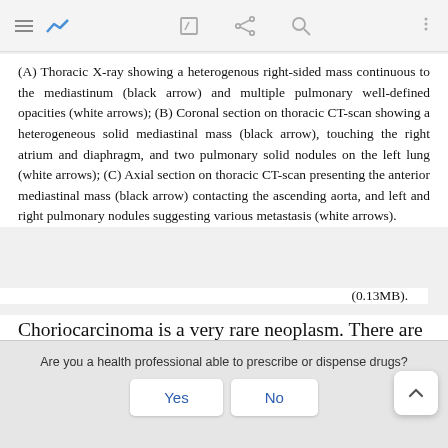[toolbar with navigation icons]
(A) Thoracic X-ray showing a heterogenous right-sided mass continuous to the mediastinum (black arrow) and multiple pulmonary well-defined opacities (white arrows); (B) Coronal section on thoracic CT-scan showing a heterogeneous solid mediastinal mass (black arrow), touching the right atrium and diaphragm, and two pulmonary solid nodules on the left lung (white arrows); (C) Axial section on thoracic CT-scan presenting the anterior mediastinal mass (black arrow) contacting the ascending aorta, and left and right pulmonary nodules suggesting various metastasis (white arrows).
(0.13MB).
Choriocarcinoma is a very rare neoplasm. There are
Are you a health professional able to prescribe or dispense drugs?
Yes
No